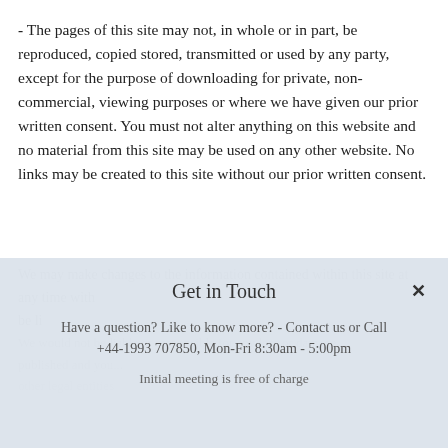- The pages of this site may not, in whole or in part, be reproduced, copied stored, transmitted or used by any party, except for the purpose of downloading for private, non-commercial, viewing purposes or where we have given our prior written consent. You must not alter anything on this website and no material from this site may be used on any other website. No links may be created to this site without our prior written consent.
We may make changes to the information contained within this site at any time without notification and in respect of these. We will not be liable...
Get in Touch
Have a question? Like to know more? - Contact us or Call +44-1993 707850, Mon-Fri 8:30am - 5:00pm
Initial meeting is free of charge